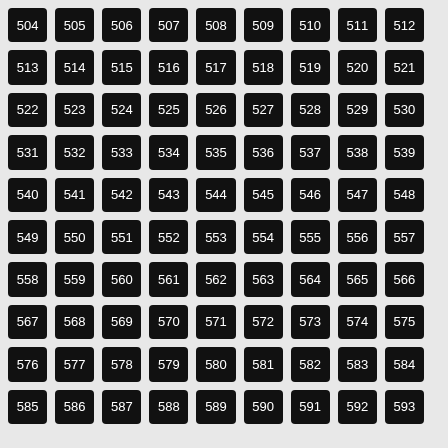[Figure (other): Grid of 90 numbered black tiles from 504 to 593, arranged in 10 rows of 9 tiles each, displayed on a light gray background.]